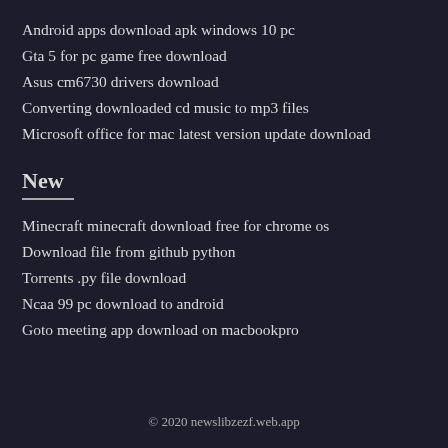Android apps download apk windows 10 pc
Gta 5 for pc game free download
Asus cm6730 drivers download
Converting downloaded cd music to mp3 files
Microsoft office for mac latest version update download
New
Minecraft minecraft download free for chrome os
Download file from github python
Torrents .py file download
Ncaa 99 pc download to android
Goto meeting app download on macbookpro
© 2020 newslibzezf.web.app